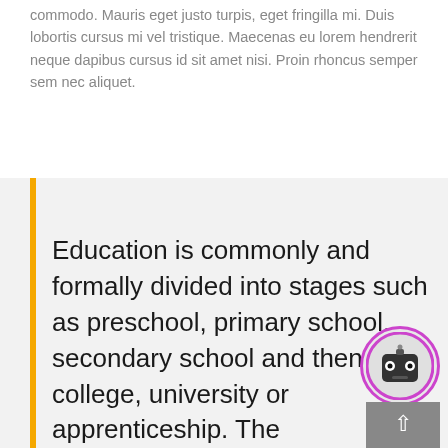commodo. Mauris eget justo turpis, eget fringilla mi. Duis lobortis cursus mi vel tristique. Maecenas eu lorem hendrerit neque dapibus cursus id sit amet nisi. Proin rhoncus semper sem nec aliquet.
Education is commonly and formally divided into stages such as preschool, primary school, secondary school and then college, university or apprenticeship. The methodology of teaching is called pedagogy.